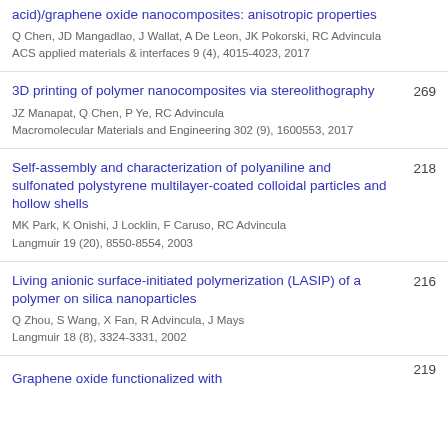acid)/graphene oxide nanocomposites: anisotropic properties
Q Chen, JD Mangadlao, J Wallat, A De Leon, JK Pokorski, RC Advincula
ACS applied materials & interfaces 9 (4), 4015-4023, 2017
3D printing of polymer nanocomposites via stereolithography
JZ Manapat, Q Chen, P Ye, RC Advincula
Macromolecular Materials and Engineering 302 (9), 1600553, 2017
269
Self-assembly and characterization of polyaniline and sulfonated polystyrene multilayer-coated colloidal particles and hollow shells
MK Park, K Onishi, J Locklin, F Caruso, RC Advincula
Langmuir 19 (20), 8550-8554, 2003
218
Living anionic surface-initiated polymerization (LASIP) of a polymer on silica nanoparticles
Q Zhou, S Wang, X Fan, R Advincula, J Mays
Langmuir 18 (8), 3324-3331, 2002
216
Graphene oxide functionalized with...